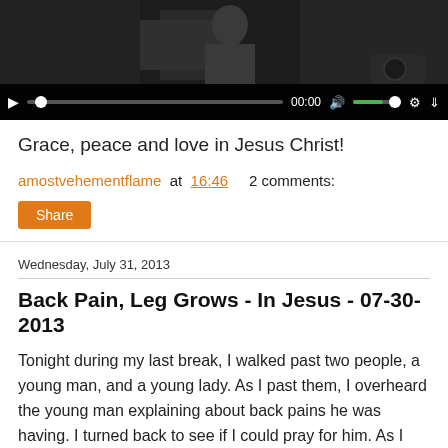[Figure (screenshot): Video player with dark background showing a person in a room, with playback controls bar showing play button, progress bar, 00:00 timestamp, volume control, settings gear, and download icon.]
Grace, peace and love in Jesus Christ!
amostvehementflame at 16:46   2 comments:
Share
Wednesday, July 31, 2013
Back Pain, Leg Grows - In Jesus - 07-30-2013
Tonight during my last break, I walked past two people, a young man, and a young lady. As I past them, I overheard the young man explaining about back pains he was having. I turned back to see if I could pray for him. As I approached, the young man greeted me and I proceeded to tell him that I overheard what he was saying and asked if he had back pain right now. He explained that it was at night time as he would lay in bed when he would get the pain, but had none right then. He said that he had just